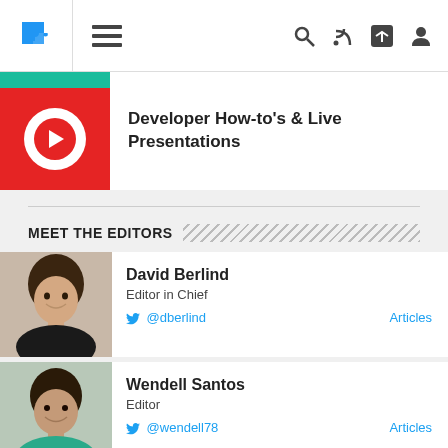[Figure (screenshot): Website navigation bar with puzzle piece logo, hamburger menu, search, RSS, share, and user icons]
[Figure (screenshot): YouTube channel logo thumbnail — red background with white circle and play button]
Developer How-to's & Live Presentations
MEET THE EDITORS
[Figure (photo): Headshot of David Berlind, Editor in Chief]
David Berlind
Editor in Chief
@dberlind
Articles
[Figure (photo): Headshot of Wendell Santos, Editor]
Wendell Santos
Editor
@wendell78
Articles